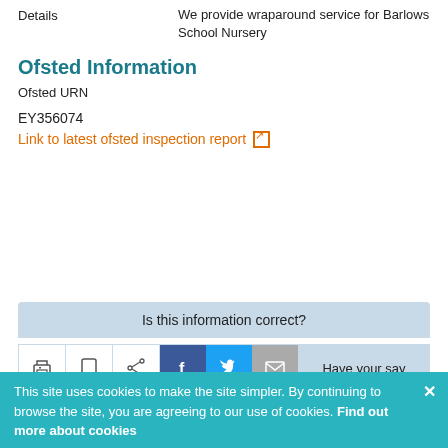Details	We provide wraparound service for Barlows School Nursery
Ofsted Information
Ofsted URN
EY356074
Link to latest ofsted inspection report
Is this information correct?
Have your say
This site uses cookies to make the site simpler. By continuing to browse the site, you are agreeing to our use of cookies. Find out more about cookies